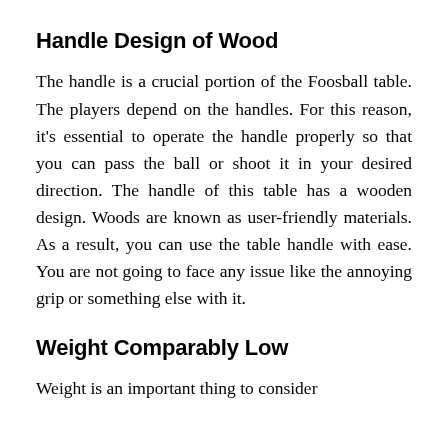Handle Design of Wood
The handle is a crucial portion of the Foosball table. The players depend on the handles. For this reason, it's essential to operate the handle properly so that you can pass the ball or shoot it in your desired direction. The handle of this table has a wooden design. Woods are known as user-friendly materials. As a result, you can use the table handle with ease. You are not going to face any issue like the annoying grip or something else with it.
Weight Comparably Low
Weight is an important thing to consider